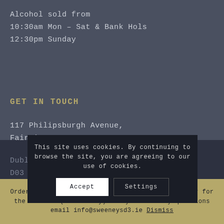Alcohol sold from
10:30am Mon – Sat & Bank Hols
12:30pm Sunday
GET IN TOUCH
117 Philipsburgh Avenue,
Fairview,
Dublin 3,
D03 XV04.
This site uses cookies. By continuing to browse the site, you are agreeing to our use of cookies.
Accept
Settings
Order before 12:30pm on Friday to have your order for the weekend (Dubin only)! If you have any questions email info@sweeneysd3.ie Dismiss